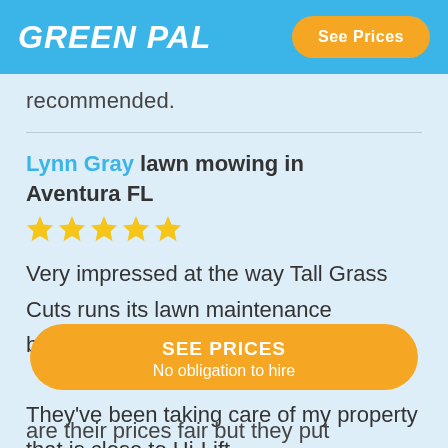GREENPAL | See Prices
recommended.
Lynn Gray lawn mowing in Aventura FL
[Figure (other): 5 gold stars rating]
Very impressed at the way Tall Grass Cuts runs its lawn maintenance business. They've been taking care of my property that is close to Hi-Lift
SEE PRICES
No obligation to hire
are their prices fair but they put